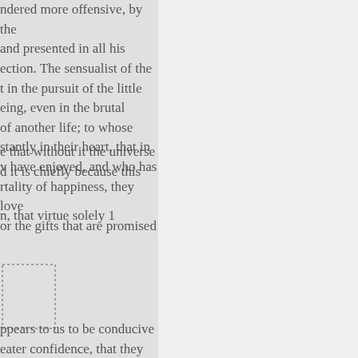ndered more offensive, by the and presented in all his ection. The sensualist of the t in the pursuit of the little eing, even in the brutal of another life; to whose stantly in their heart, that in v have enjoyed, and who has rtality of happiness, they love or the gifts that are promised
e that without it the universe d it is chiefly because this
n, that virtue solely 1
[Figure (other): Dotted rectangle outline box, empty, in lower left area]
ppears to us to be conducive eater confidence, that they